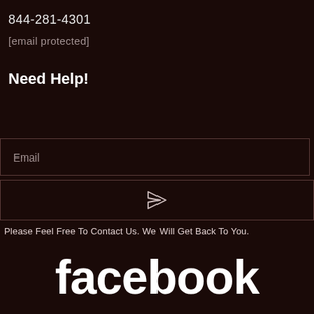844-281-4301
[email protected]
Need Help!
Email
[Figure (other): Send button with paper airplane icon]
Please Feel Free To Contact Us. We Will Get Back To You.
facebook